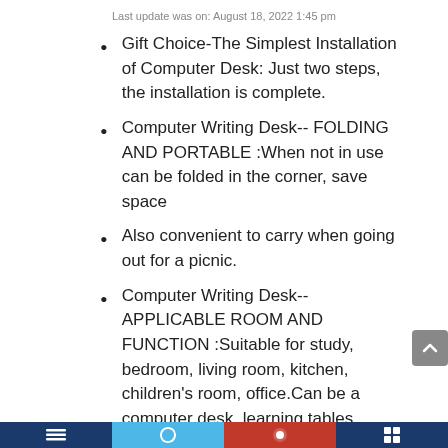Last update was on: August 18, 2022 1:45 pm
Gift Choice-The Simplest Installation of Computer Desk: Just two steps, the installation is complete.
Computer Writing Desk-- FOLDING AND PORTABLE :When not in use can be folded in the corner, save space
Also convenient to carry when going out for a picnic.
Computer Writing Desk-- APPLICABLE ROOM AND FUNCTION :Suitable for study, bedroom, living room, kitchen, children's room, office.Can be a computer desk, learning tables, game tables, picnic tables,secretarial desk.